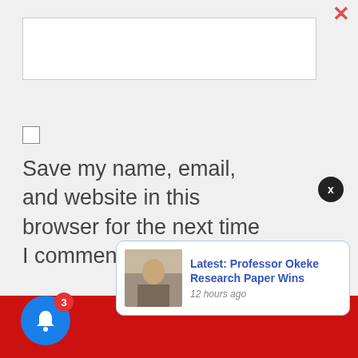[Figure (screenshot): Empty text input box for comment entry]
[Figure (screenshot): Checkbox for saving name, email, website]
Save my name, email, and website in this browser for the next time I comment.
[Figure (screenshot): Post Comment button in red]
[Figure (screenshot): Notification popup: Latest: Professor Okeke Research Paper Wins, 12 hours ago]
[Figure (screenshot): Blue notification bell icon with red badge showing 3]